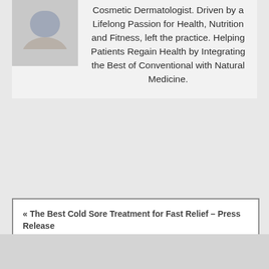[Figure (photo): Photo of a medical professional or doctor, partially visible in upper left corner]
Cosmetic Dermatologist. Driven by a Lifelong Passion for Health, Nutrition and Fitness, left the practice. Helping Patients Regain Health by Integrating the Best of Conventional with Natural Medicine.
« The Best Cold Sore Treatment for Fast Relief – Press Release
How to Boost Your Immune System during COVID-19? »